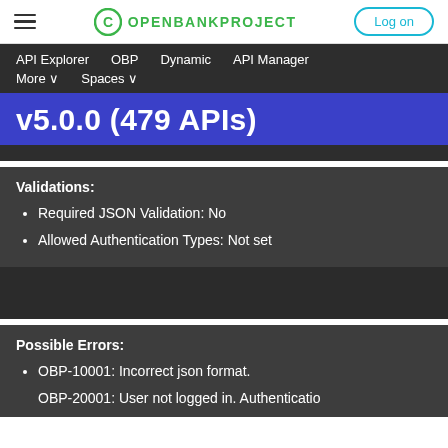OPENBANKPROJECT  Log on
API Explorer  OBP  Dynamic  API Manager  More  Spaces
v5.0.0 (479 APIs)
Validations:
Required JSON Validation: No
Allowed Authentication Types: Not set
Possible Errors:
OBP-10001: Incorrect json format.
OBP-20001: User not logged in. Authentication...